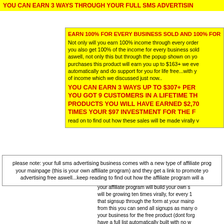YOU CAN EARN 3 WAYS THROUGH YOUR FULL SMS ADVERTISING
EARN 100% FOR EVERY BUSINESS SOLD AND 100% FOR
Not only will you earn 100% income through every order you also get 100% of the income for every business sold aswell, not only this but through the popup shown on yo purchases this product will earn you up to $163+ we eve automatically and do support for you for life free...with y of income which we discussed just now..
YOU CAN EARN 3 WAYS UP TO $307+ PER YOU GOT 9 CUSTOMERS IN A LIFETIME TH PRODUCTS YOU WILL HAVE EARNED $2,7 TIMES YOUR $97 INVESTMENT FOR THE F
read on to find out how these sales will be made virally v
please note: your full sms advertising business comes with a new type of affiliate prog your mainpage (this is your own affiliate program) and they get a link to promote yo advertising free aswell...keep reading to find out how the affiliate program will a
your affiliate program will build your own s will be growing ten times virally, for every 1 that signsup through the form at your mainp from this you can send all signups as many o your business for the free product (dont forg have a full list automatically built with no w earn 3 ways automatically and virally throu